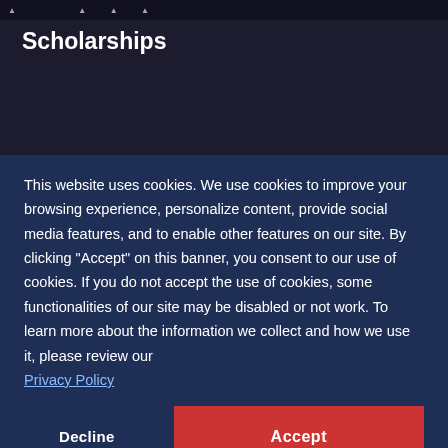navigation bar
Scholarships
We support and administrate several scholarship funds for United Methodist students in addition to partnering with GBHEM where possible and appropriate.
This website uses cookies. We use cookies to improve your browsing experience, personalize content, provide social media features, and to enable other features on our site. By clicking "Accept" on this banner, you consent to our use of cookies. If you do not accept the use of cookies, some functionalities of our site may be disabled or not work. To learn more about the information we collect and how we use it, please review our Privacy Policy
Decline
Accept
About   Contact Us
Young People's Ministries was created to connect young people and...